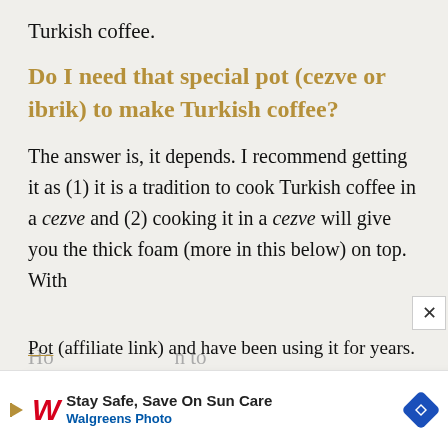Turkish coffee.
Do I need that special pot (cezve or ibrik) to make Turkish coffee?
The answer is, it depends. I recommend getting it as (1) it is a tradition to cook Turkish coffee in a cezve and (2) cooking it in a cezve will give you the thick foam (more in this below) on top. With
nose
15.1k
This website uses cookies to improve your experience, you can opt-out if you wish.
ACCEPT   Cookie Settings
e
Pot (affiliate link) and have been using it for years.
[Figure (other): Cookie consent overlay with ACCEPT and Cookie Settings buttons]
[Figure (other): Heart/like button (white circle) with 15.1k count and gold search button]
[Figure (other): Walgreens Photo advertisement banner: Stay Safe, Save On Sun Care]
Ho n to